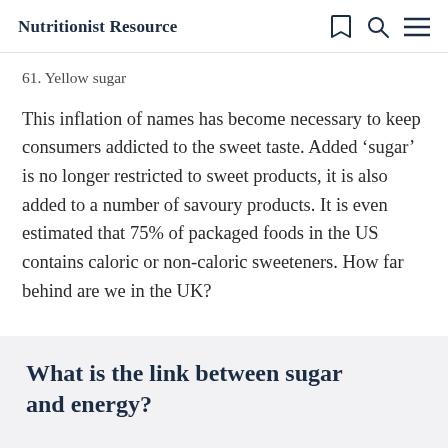Nutritionist Resource
61. Yellow sugar
This inflation of names has become necessary to keep consumers addicted to the sweet taste. Added ‘sugar’ is no longer restricted to sweet products, it is also added to a number of savoury products. It is even estimated that 75% of packaged foods in the US contains caloric or non-caloric sweeteners. How far behind are we in the UK?
What is the link between sugar and energy?